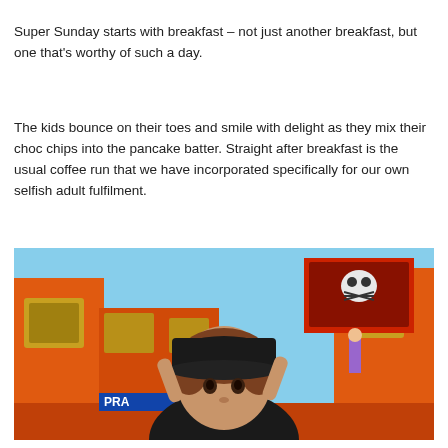Super Sunday starts with breakfast – not just another breakfast, but one that's worthy of such a day.
The kids bounce on their toes and smile with delight as they mix their choc chips into the pancake batter. Straight after breakfast is the usual coffee run that we have incorporated specifically for our own selfish adult fulfilment.
[Figure (photo): A young child wearing a black baseball cap with hands raised behind their head, standing in front of a colorful orange pirate-themed inflatable play structure with a skull and crossbones flag visible in the background.]